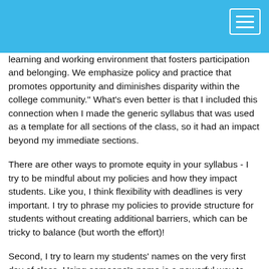[navigation bar with menu button]
learning and working environment that fosters participation and belonging. We emphasize policy and practice that promotes opportunity and diminishes disparity within the college community." What's even better is that I included this connection when I made the generic syllabus that was used as a template for all sections of the class, so it had an impact beyond my immediate sections.
There are other ways to promote equity in your syllabus - I try to be mindful about my policies and how they impact students. Like you, I think flexibility with deadlines is very important. I try to phrase my policies to provide structure for students without creating additional barriers, which can be tricky to balance (but worth the effort)!
Second, I try to learn my students' names on the very first day of class. Using someone's name is a powerful way to build a connection and help students feel connected. Similarly, I have students work collaboratively in some small way on the first day so they can share a connection with another student.